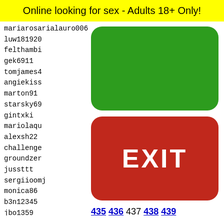Online looking for sex - Adults 18+ Only!
mariarosarialauro06
luw181920
felthambi
gek6911
tomjames4
angiekiss
marton91
starsky69
gintxki
mariolaqu
alexsh22
challenge
groundzer
jussttt
sergiioomj
monica86
b3n12345
jbo1359
ocosta04
Beauty4Ashos73
shuvo0
NewMon
giorgi
killar
piiiii
bigdic
[Figure (other): Green rounded rectangle button (no label)]
[Figure (other): Red rounded rectangle button with EXIT text]
435 436 437 438 439
[Figure (illustration): Snapchat ghost logo on yellow background with black border and dot pattern]